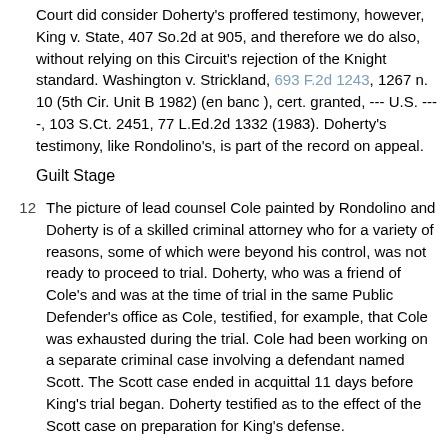Court did consider Doherty's proffered testimony, however, King v. State, 407 So.2d at 905, and therefore we do also, without relying on this Circuit's rejection of the Knight standard. Washington v. Strickland, 693 F.2d 1243, 1267 n. 10 (5th Cir. Unit B 1982) (en banc ), cert. granted, --- U.S. ----, 103 S.Ct. 2451, 77 L.Ed.2d 1332 (1983). Doherty's testimony, like Rondolino's, is part of the record on appeal.
Guilt Stage
12  The picture of lead counsel Cole painted by Rondolino and Doherty is of a skilled criminal attorney who for a variety of reasons, some of which were beyond his control, was not ready to proceed to trial. Doherty, who was a friend of Cole's and was at the time of trial in the same Public Defender's office as Cole, testified, for example, that Cole was exhausted during the trial. Cole had been working on a separate criminal case involving a defendant named Scott. The Scott case ended in acquittal 11 days before King's trial began. Doherty testified as to the effect of the Scott case on preparation for King's defense.
13  ... Mr. Cole fervently believed in this person's [Scott's] innocence, this man protested his innocence at every turn in the road. This was